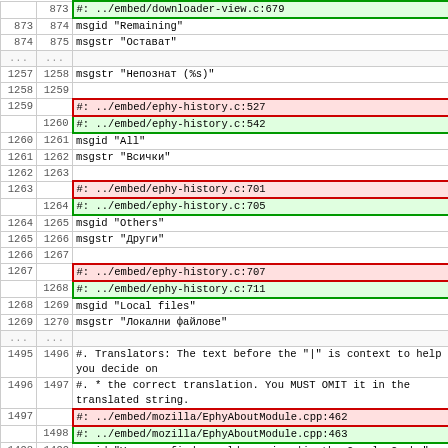| old | new | content |
| --- | --- | --- |
|  | 873 | #: ../embed/downloader-view.c:679 |
| 873 | 874 | msgid "Remaining" |
| 874 | 875 | msgstr "Остават" |
| ... | ... |  |
| 1257 | 1258 | msgstr "Непознат (%s)" |
| 1258 | 1259 |  |
| 1259 |  | #: ../embed/ephy-history.c:527 |
|  | 1260 | #: ../embed/ephy-history.c:542 |
| 1260 | 1261 | msgid "All" |
| 1261 | 1262 | msgstr "Всички" |
| 1262 | 1263 |  |
| 1263 |  | #: ../embed/ephy-history.c:701 |
|  | 1264 | #: ../embed/ephy-history.c:705 |
| 1264 | 1265 | msgid "Others" |
| 1265 | 1266 | msgstr "Други" |
| 1266 | 1267 |  |
| 1267 |  | #: ../embed/ephy-history.c:707 |
|  | 1268 | #: ../embed/ephy-history.c:711 |
| 1268 | 1269 | msgid "Local files" |
| 1269 | 1270 | msgstr "Локални файлове" |
| ... | ... |  |
| 1495 | 1496 | #. Translators: The text before the "|" is context to help you decide on |
| 1496 | 1497 | #. * the correct translation. You MUST OMIT it in the translated string. |
| 1497 |  | #: ../embed/mozilla/EphyAboutModule.cpp:462 |
|  | 1498 | #: ../embed/mozilla/EphyAboutModule.cpp:463 |
| 1498 | 1499 | msgid "You may find an old version:|in the Google Cache" |
| 1499 | 1500 | msgstr "в кешът на Google" |
| ... | ... |  |
| 1501 | 1502 | #. Translators: The text before the "|" is |